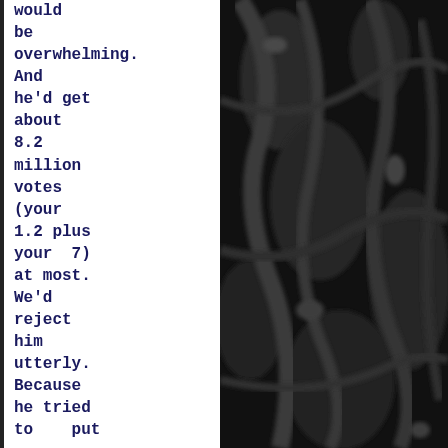would be overwhelming. And he'd get about 8.2 million votes (your 1.2 plus your 7) at most. We'd reject him utterly. Because he tried to put one over on the whole damn country. Not because he was a member of the
[Figure (photo): Dark black fabric or textile with folds and reflective sheen, filling the right half of the page]